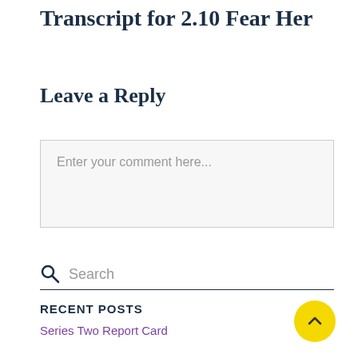Transcript for 2.10 Fear Her
Leave a Reply
Enter your comment here...
Search
RECENT POSTS
Series Two Report Card